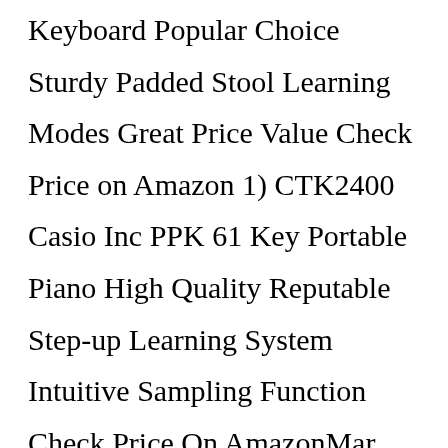Keyboard Popular Choice Sturdy Padded Stool Learning Modes Great Price Value Check Price on Amazon 1) CTK2400 Casio Inc PPK 61 Key Portable Piano High Quality Reputable Step-up Learning System Intuitive Sampling Function Check Price On AmazonMar 24, 2022 · It could be that you don't need a digital piano, but may prefer an upright piano. Table of Contents [show] The Best Digital Piano of 2022. 1. Casio CT-X700 61-Key Portable Keyboard.